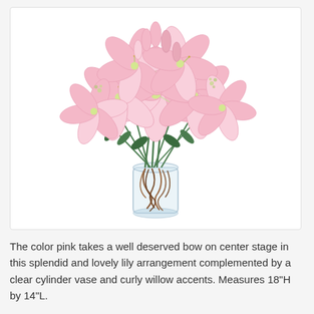[Figure (photo): A bouquet of pink lilies arranged in a clear cylinder glass vase with curly willow branch accents inside the vase. The flowers are full and lush, pale pink with white and green centers, set against a white background.]
The color pink takes a well deserved bow on center stage in this splendid and lovely lily arrangement complemented by a clear cylinder vase and curly willow accents. Measures 18"H by 14"L.